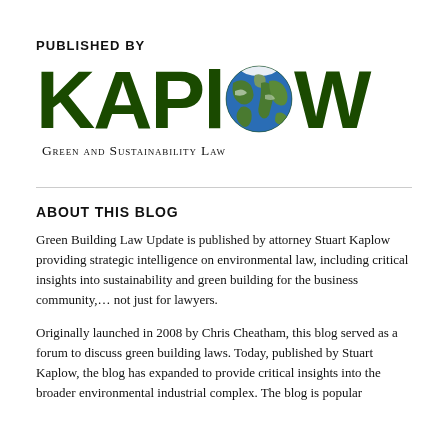PUBLISHED BY
[Figure (logo): Kaplow Green and Sustainability Law logo with globe replacing the letter O in KAPLOW, dark green bold text]
ABOUT THIS BLOG
Green Building Law Update is published by attorney Stuart Kaplow providing strategic intelligence on environmental law, including critical insights into sustainability and green building for the business community,… not just for lawyers.
Originally launched in 2008 by Chris Cheatham, this blog served as a forum to discuss green building laws. Today, published by Stuart Kaplow, the blog has expanded to provide critical insights into the broader environmental industrial complex. The blog is popular